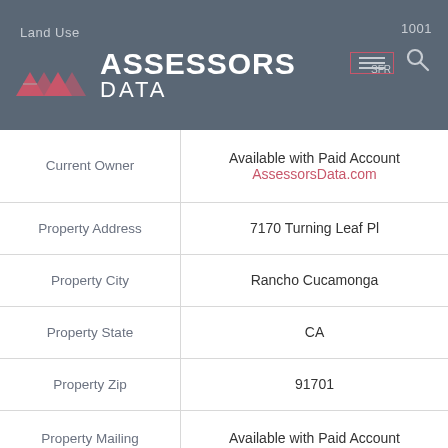[Figure (logo): Assessors Data logo with geometric triangles on grey header bar. Shows 'Land Use' label top left, '1001' top right, hamburger menu icon with 'SFR' label and search icon on right side.]
| Field | Value |
| --- | --- |
| Current Owner | Available with Paid Account
AssessorsData.com |
| Property Address | 7170 Turning Leaf Pl |
| Property City | Rancho Cucamonga |
| Property State | CA |
| Property Zip | 91701 |
| Property Mailing Address | Available with Paid Account
AssessorsData.com |
|  | Available with Paid Account |